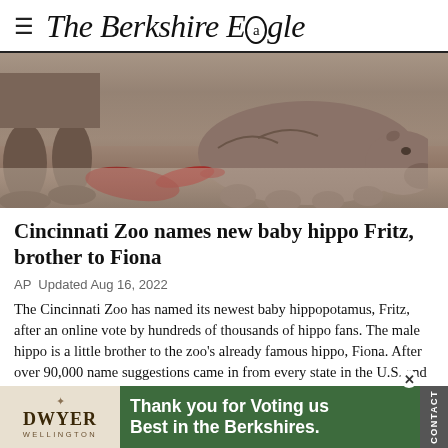≡ The Berkshire Eagle
[Figure (photo): A baby hippopotamus (Fritz) crouching on a stone floor next to the legs of an adult hippo, with red spots on the ground nearby.]
Cincinnati Zoo names new baby hippo Fritz, brother to Fiona
AP  Updated Aug 16, 2022
The Cincinnati Zoo has named its newest baby hippopotamus, Fritz, after an online vote by hundreds of thousands of hippo fans. The male hippo is a little brother to the zoo's already famous hippo, Fiona. After over 90,000 name suggestions came in from every state in the U.S. and over 60 countries, zoo employees narrowed them down to five that they thought would have been…the name
[Figure (other): Advertisement banner: Dwyer Wellington logo on the left, green background with text 'Thank you for Voting us Best in the Berkshires.' and a CONTACT tab on the right.]